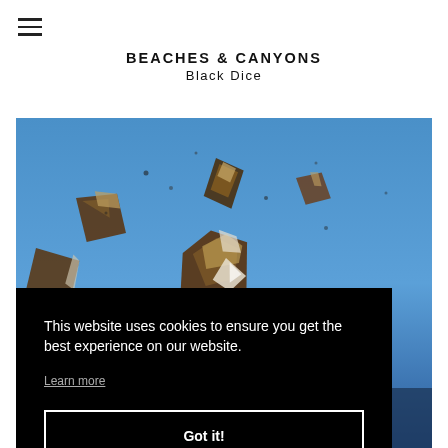[Figure (other): Hamburger menu icon with three horizontal lines]
BEACHES & CANYONS
Black Dice
[Figure (photo): Photo of debris/shards floating against a blue sky background, partially obscured by a cookie consent overlay]
This website uses cookies to ensure you get the best experience on our website.
Learn more
Got it!